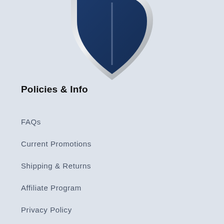[Figure (logo): Partial view of a dark navy blue shield logo with silver metallic border, cropped at the top of the page]
Policies & Info
FAQs
Current Promotions
Shipping & Returns
Affiliate Program
Privacy Policy
Terms of Service